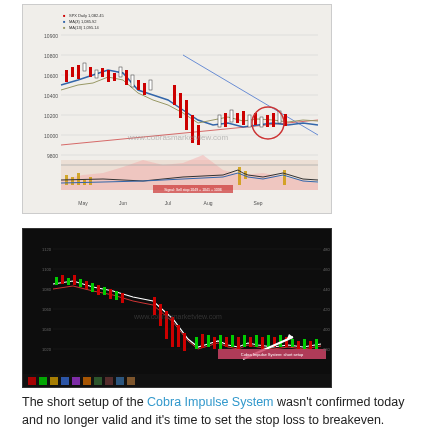[Figure (screenshot): Stock market chart screenshot from www.cobrasmarketview.com showing candlestick price chart with moving averages, volume, and a lower panel with indicators including yellow histogram bars and blue/black line indicators. White watermark text visible.]
The short setup of the Cobra Impulse System wasn't confirmed today and no longer valid and it's time to set the stop loss to breakeven.
[Figure (screenshot): Dark-background candlestick chart from www.cobrasmarketview.com showing green and red candles with moving average lines (white and red), a white diagonal arrow pointing up-right in the lower portion, and a pink/red text label box near the bottom. Legend bar visible at the bottom.]